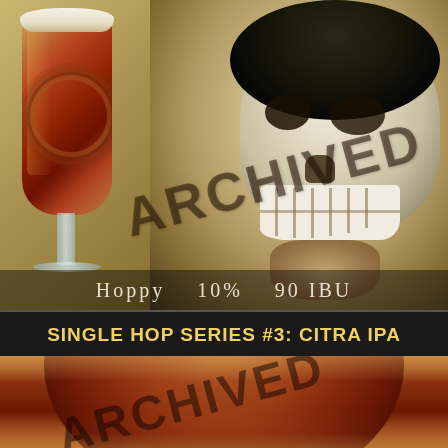[Figure (photo): Top photo showing a beer glass with dark amber IPA on left and a skull mask/decoration on right, with 'ARCHIVED' watermark overlaid diagonally. Stats bar shows 'Hoppy  10%  90 IBU'.]
Hoppy   10%   90 IBU
SINGLE HOP SERIES #3: CITRA IPA
[Figure (photo): Bottom photo showing close-up of a beer glass with dark amber IPA, with 'ARCHIVED' watermark overlaid diagonally.]